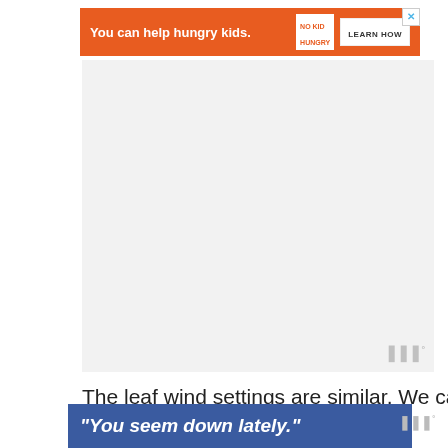[Figure (screenshot): Orange advertisement banner: 'You can help hungry kids.' with No Kid Hungry logo and 'LEARN HOW' button, with close X button]
[Figure (screenshot): Large white/light grey embedded video player area (blank/loading) with Wistia watermark logo in bottom right]
The leaf wind settings are similar. We can think
[Figure (screenshot): Blue advertisement overlay banner with italic bold white text: "You seem down lately."]